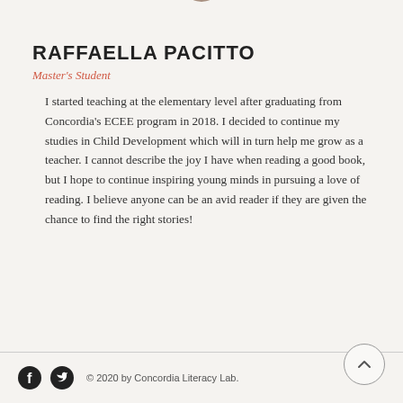[Figure (photo): Circular cropped profile photo of Raffaella Pacitto, showing hair/top of head]
RAFFAELLA PACITTO
Master's Student
I started teaching at the elementary level after graduating from Concordia’s ECEE program in 2018. I decided to continue my studies in Child Development which will in turn help me grow as a teacher. I cannot describe the joy I have when reading a good book, but I hope to continue inspiring young minds in pursuing a love of reading. I believe anyone can be an avid reader if they are given the chance to find the right stories!
© 2020 by Concordia Literacy Lab.